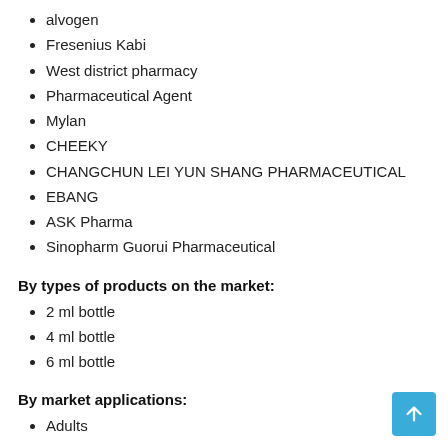alvogen
Fresenius Kabi
West district pharmacy
Pharmaceutical Agent
Mylan
CHEEKY
CHANGCHUN LEI YUN SHANG PHARMACEUTICAL
EBANG
ASK Pharma
Sinopharm Guorui Pharmaceutical
By types of products on the market:
2 ml bottle
4 ml bottle
6 ml bottle
By market applications:
Adults